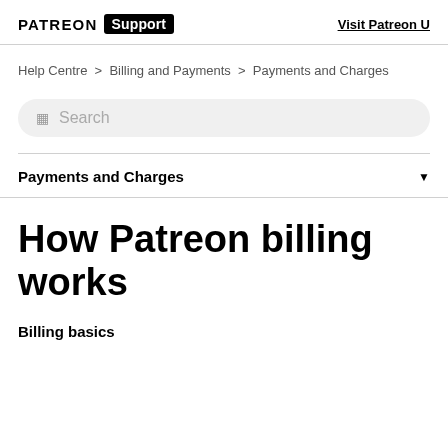PATREON Support   Visit Patreon U
Help Centre > Billing and Payments > Payments and Charges
[Figure (other): Search bar with search icon and placeholder text 'Search']
Payments and Charges ▼
How Patreon billing works
Billing basics